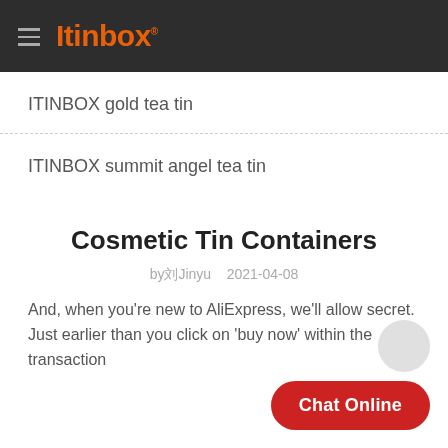Itinbox
ITINBOX gold tea tin
ITINBOX summit angel tea tin
Cosmetic Tin Containers
by 刘Jinyu   2021-04-08
And, when you're new to AliExpress, we'll allow secret. Just earlier than you click on 'buy now' within the transaction